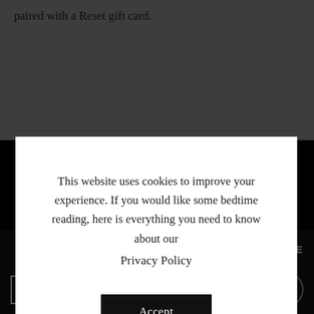paired with a Reset gift card.
[Figure (screenshot): Cookie consent modal dialog overlaying a webpage. The modal contains text about cookie usage and a Privacy Policy link, with an Accept button. Behind the modal is a greyed-out webpage with a dark footer showing various media logos including Sacramento, Comstocks, Telegraph, abc10, STYLE, CBS13 Sacramento, N&R, Best of Folsom, Sacramento Business Journal, Auburn Journal, and Watch Good Day.]
This website uses cookies to improve your experience. If you would like some bedtime reading, here is everything you need to know about our
Privacy Policy
Accept